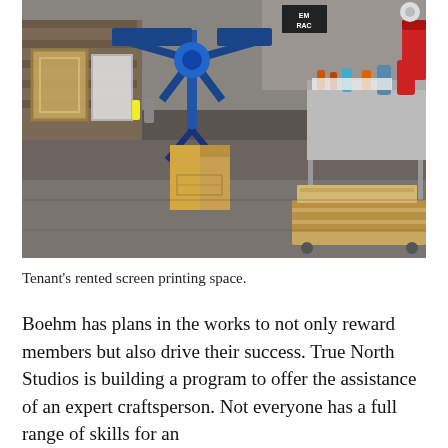[Figure (photo): Interior of a screen printing studio workshop. A large blue multi-arm screen printing press sits in the center on a concrete floor. Wooden shelving units line the walls with frames and supplies. A cardboard box sits in the middle of the floor. On the right side is a metal workbench covered with inks, bottles, and supplies. A wooden pallet cart with lumber sits in the foreground right.]
Tenant's rented screen printing space.
Boehm has plans in the works to not only reward members but also drive their success. True North Studios is building a program to offer the assistance of an expert craftsperson. Not everyone has a full range of skills for an